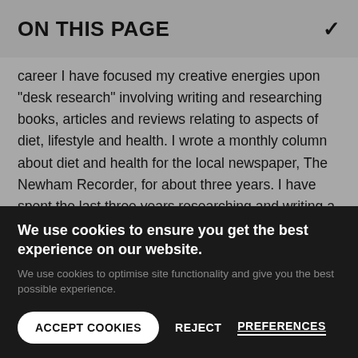ON THIS PAGE
career I have focused my creative energies upon "desk research" involving writing and researching books, articles and reviews relating to aspects of diet, lifestyle and health. I wrote a monthly column about diet and health for the local newspaper, The Newham Recorder, for about three years. I have spent the last three years researching and writing a
We use cookies to ensure you get the best experience on our website.
We use cookies to optimise site functionality and give you the best possible experience.
ACCEPT COOKIES
REJECT
PREFERENCES